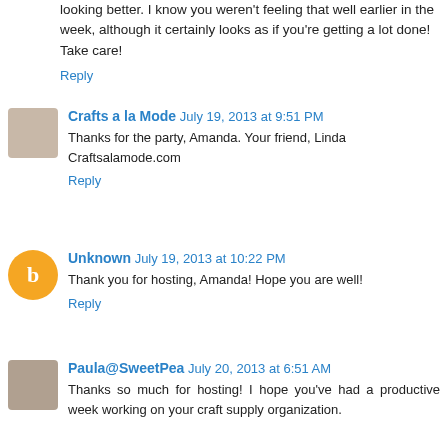looking better. I know you weren't feeling that well earlier in the week, although it certainly looks as if you're getting a lot done! Take care!
Reply
Crafts a la Mode  July 19, 2013 at 9:51 PM
Thanks for the party, Amanda. Your friend, Linda Craftsalamode.com
Reply
Unknown  July 19, 2013 at 10:22 PM
Thank you for hosting, Amanda! Hope you are well!
Reply
Paula@SweetPea  July 20, 2013 at 6:51 AM
Thanks so much for hosting! I hope you've had a productive week working on your craft supply organization.